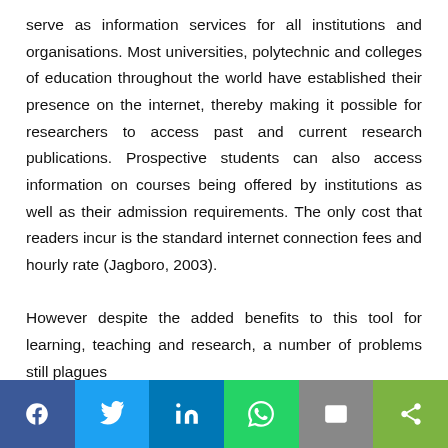serve as information services for all institutions and organisations. Most universities, polytechnic and colleges of education throughout the world have established their presence on the internet, thereby making it possible for researchers to access past and current research publications. Prospective students can also access information on courses being offered by institutions as well as their admission requirements. The only cost that readers incur is the standard internet connection fees and hourly rate (Jagboro, 2003).

However despite the added benefits to this tool for learning, teaching and research, a number of problems still plagues